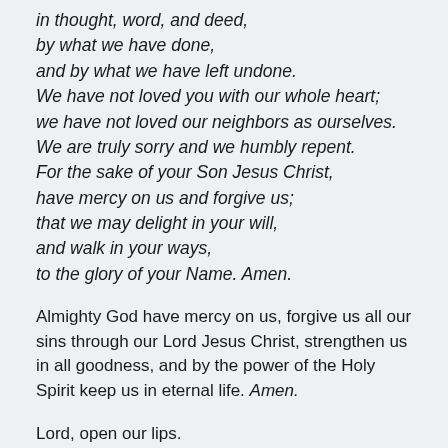in thought, word, and deed,
by what we have done,
and by what we have left undone.
We have not loved you with our whole heart;
we have not loved our neighbors as ourselves.
We are truly sorry and we humbly repent.
For the sake of your Son Jesus Christ,
have mercy on us and forgive us;
that we may delight in your will,
and walk in your ways,
to the glory of your Name. Amen.
Almighty God have mercy on us, forgive us all our sins through our Lord Jesus Christ, strengthen us in all goodness, and by the power of the Holy Spirit keep us in eternal life. Amen.
Lord, open our lips.